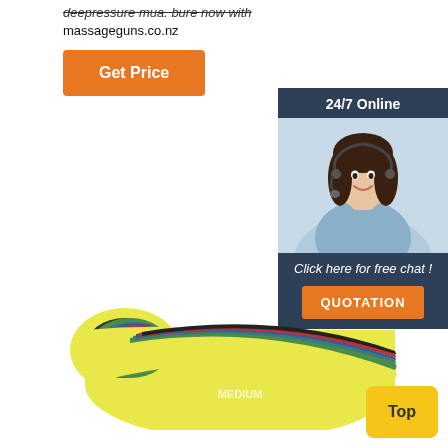deepressure mua. bure now with massageguns.co.nz
[Figure (screenshot): Orange 'Get Price' button]
[Figure (screenshot): Customer support chat panel with agent photo, '24/7 Online', 'Click here for free chat!', and orange 'QUOTATION' button]
[Figure (photo): Colorful resistance bands set stacked together, with yellow band labeled MEDIUM on bottom]
[Figure (screenshot): Yellow 'Top' button in bottom right]